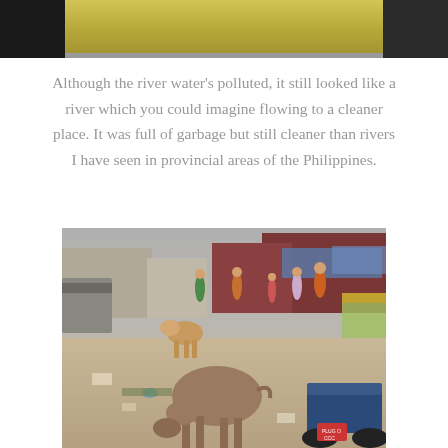[Figure (photo): Top portion of a photo showing a river with yellowish-green water and dark borders on either side, appearing to be a cropped bottom of an image]
Although the river water's polluted, it still looked like a river which you could imagine flowing to a cleaner place. It was full of garbage but still cleaner than rivers I have seen in provincial areas of the Philippines.
[Figure (photo): Street scene at a market or town area in Asia, with cows/cattle roaming freely on a dusty street. Multiple people walking in background, market stalls with colorful goods, a dark red building in background, a blue motorcycle parked on the right, and scattered garbage on the ground.]